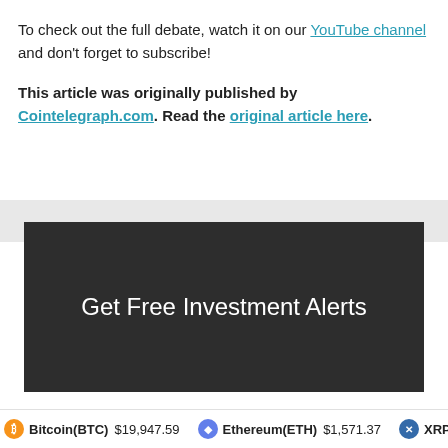To check out the full debate, watch it on our YouTube channel and don't forget to subscribe!
This article was originally published by Cointelegraph.com. Read the original article here.
[Figure (other): Dark banner advertisement with white text reading 'Get Free Investment Alerts']
Name:
Bitcoin(BTC) $19,947.59   Ethereum(ETH) $1,571.37   XRP